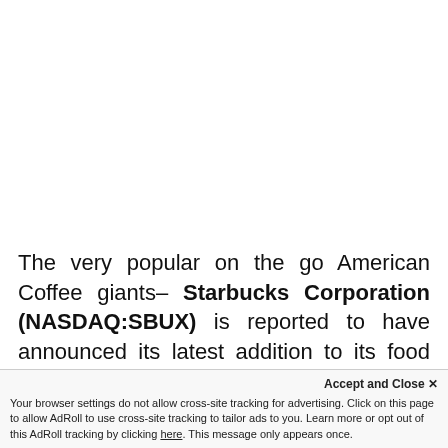The very popular on the go American Coffee giants– Starbucks Corporation (NASDAQ:SBUX) is reported to have announced its latest addition to its food menu, which are gluten free and vegan foods. Starbucks has two types of foods that are health conscious ones;
Accept and Close ✕ Your browser settings do not allow cross-site tracking for advertising. Click on this page to allow AdRoll to use cross-site tracking to tailor ads to you. Learn more or opt out of this AdRoll tracking by clicking here. This message only appears once.